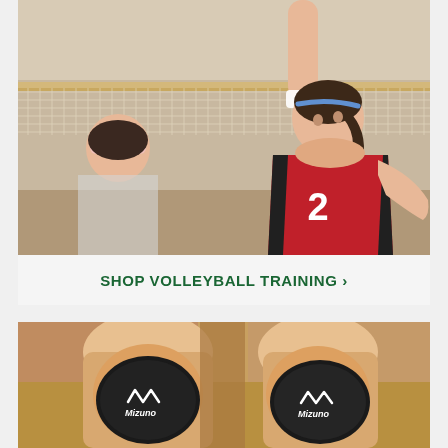[Figure (photo): Female volleyball player wearing a red jersey with number 2, reaching up to spike or block at the net in an indoor gymnasium. Another player is partially visible in the foreground.]
SHOP VOLLEYBALL TRAINING ›
[Figure (photo): Close-up of two knees wearing black Mizuno knee pads in an indoor gymnasium setting.]